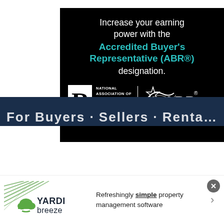[Figure (illustration): Black background advertisement banner for the Accredited Buyer's Representative (ABR®) designation from the National Association of REALTORS®. Text reads: 'Increase your earning power with the Accredited Buyer's Representative (ABR®) designation.' Bottom shows NAR Official Designation logo on left and ABR logo on right.]
[Figure (illustration): Dark navy blue banner partially visible at the bottom of the page, showing partial text of a headline.]
[Figure (illustration): Yardi Breeze advertisement banner at the very bottom. Shows YardiBreeze logo and text: 'Refreshingly simple property management software' with a close button (x) and a right arrow.]